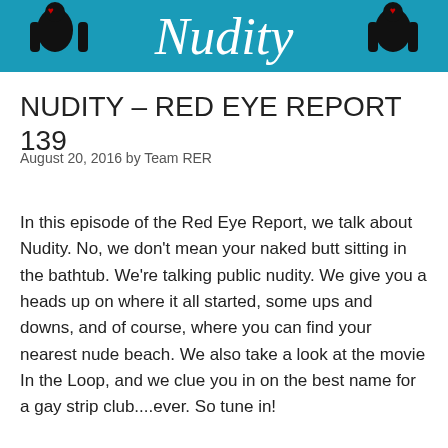[Figure (illustration): Banner image with teal/blue background showing stylized silhouette figures on left and right sides, with cursive white script text reading 'Nudity' in the center]
NUDITY – RED EYE REPORT 139
August 20, 2016 by Team RER
In this episode of the Red Eye Report, we talk about Nudity. No, we don't mean your naked butt sitting in the bathtub. We're talking public nudity. We give you a heads up on where it all started, some ups and downs, and of course, where you can find your nearest nude beach. We also take a look at the movie In the Loop, and we clue you in on the best name for a gay strip club....ever. So tune in!